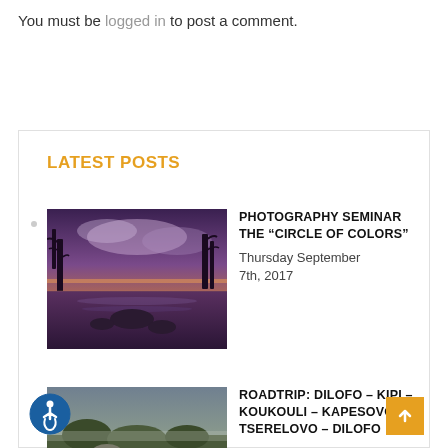You must be logged in to post a comment.
LATEST POSTS
[Figure (photo): Sunset landscape with trees reflected in a calm lake, purple and orange sky]
PHOTOGRAPHY SEMINAR THE “CIRCLE OF COLORS”
Thursday September 7th, 2017
[Figure (photo): Landscape photo partially visible, second blog post thumbnail]
ROADTRIP: DILOFO – KIPI – KOUKOULI – KAPESOVO – TSERELOVO – DILOFO